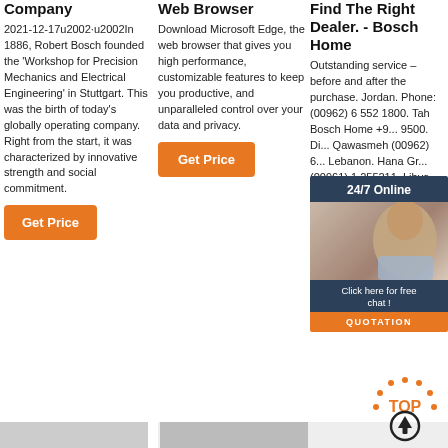Company
2021-12-17u2002·u2002In 1886, Robert Bosch founded the 'Workshop for Precision Mechanics and Electrical Engineering' in Stuttgart. This was the birth of today's globally operating company. Right from the start, it was characterized by innovative strength and social commitment.
Web Browser
Download Microsoft Edge, the web browser that gives you high performance, customizable features to keep you productive, and unparalleled control over your data and privacy.
Find The Right Dealer. - Bosch Home
Outstanding service – before and after the purchase. Jordan. Phone: (00962) 6 552 1800. Tah Bosch Home +9... 9500. Di... Qawasmeh (00962) 6... Lebanon. Hana Gr... (00961) 1 255211. Libya.
[Figure (photo): Customer service agent with headset, 24/7 Online overlay with dark background, Click here for free chat button, and QUOTATION orange button]
[Figure (logo): Top of page arrow icon with stylized TOP text and circular arrow pointing up]